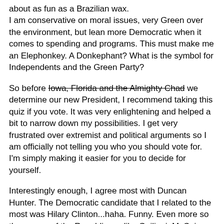about as fun as a Brazilian wax.
I am conservative on moral issues, very Green over the environment, but lean more Democratic when it comes to spending and programs. This must make me an Elephonkey. A Donkephant? What is the symbol for Independents and the Green Party?
So before Iowa, Florida and the Almighty Chad we determine our new President, I recommend taking this quiz if you vote. It was very enlightening and helped a bit to narrow down my possibilities. I get very frustrated over extremist and political arguments so I am officially not telling you who you should vote for. I'm simply making it easier for you to decide for yourself.
Interestingly enough, I agree most with Duncan Hunter. The Democratic candidate that I related to the most was Hilary Clinton...haha. Funny. Even more so than some of the Republicans like Guiliani, McCain, or Romney.
[Figure (other): Broken image placeholder inside a bordered box]